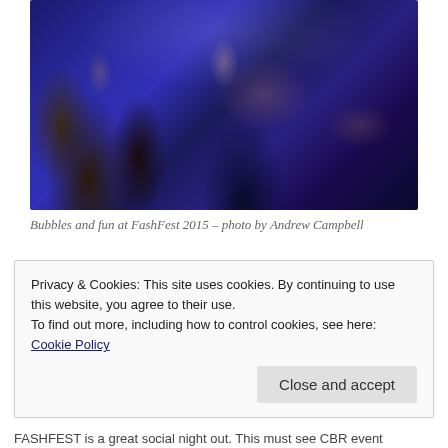[Figure (photo): People at a social event, FashFest 2015, holding wine glasses and socializing in a dimly lit venue with blue lighting]
Bubbles and fun at FashFest 2015 – photo by Andrew Campbell
Privacy & Cookies: This site uses cookies. By continuing to use this website, you agree to their use.
To find out more, including how to control cookies, see here: Cookie Policy
Close and accept
FASHFEST is a great social night out. This must see CBR event